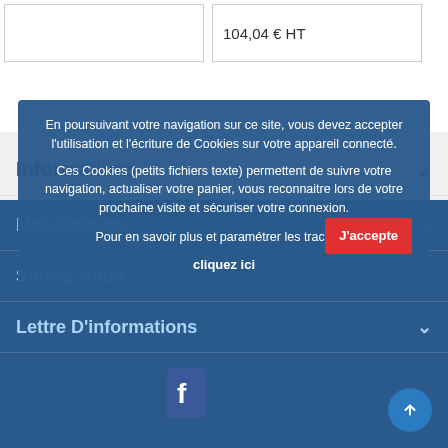104,04 € HT
Informations
Mon Compte
Suivez-Nous
Lettre D'informations
En poursuivant votre navigation sur ce site, vous devez accepter l'utilisation et l'écriture de Cookies sur votre appareil connecté. Ces Cookies (petits fichiers texte) permettent de suivre votre navigation, actualiser votre panier, vous reconnaitre lors de votre prochaine visite et sécuriser votre connexion. Pour en savoir plus et paramétrer les traceurs: cliquez ici